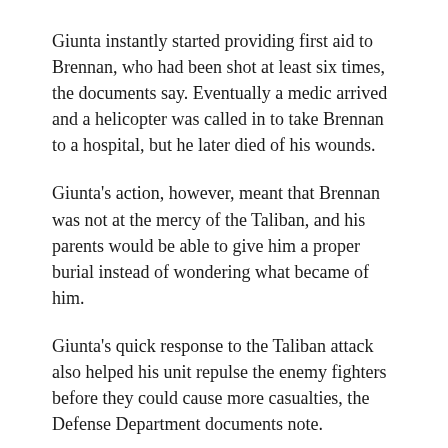Giunta instantly started providing first aid to Brennan, who had been shot at least six times, the documents say. Eventually a medic arrived and a helicopter was called in to take Brennan to a hospital, but he later died of his wounds.
Giunta's action, however, meant that Brennan was not at the mercy of the Taliban, and his parents would be able to give him a proper burial instead of wondering what became of him.
Giunta's quick response to the Taliban attack also helped his unit repulse the enemy fighters before they could cause more casualties, the Defense Department documents note.
Giunta was shot twice, with one round hitting his body armor and the second destroying a weapon slung over his back. He was not seriously hurt.
According to the White House, the Medal of Honor is awarded to "a member of the Armed Forces who distinguishes themselves conspicuously by gallantry above and beyond the call of duty ... The meritorious conduct